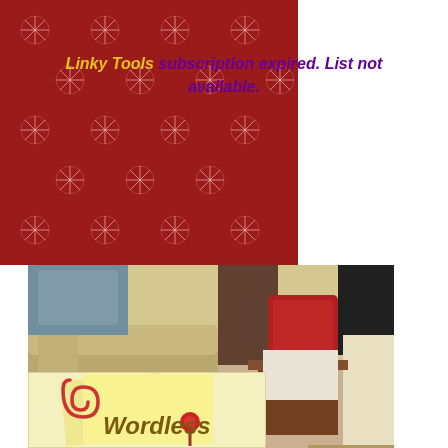[Figure (photo): Red background with white snowflake pattern decorative banner in top-left area of page]
Linky Tools subscription expired. List not available.
[Figure (photo): Indoor photo of a black dog (Labrador) lying on beige carpet in a living room, with a green ball nearby, a tan couch on the left, red luggage in the background, and a person's leg visible at bottom left]
[Figure (photo): Wordless Wednesday logo/badge showing sticky notes with a paperclip and pushpin, with text 'Wordless' on a yellow notepad background]